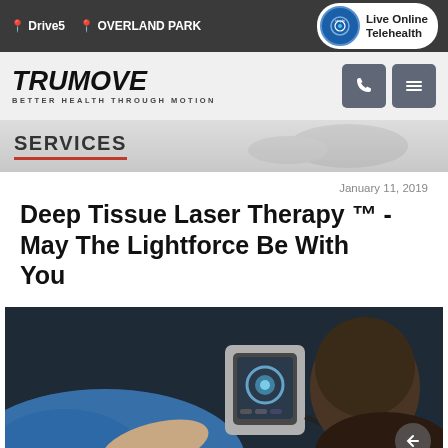Drive5  OVERLAND PARK  |  Live Online Telehealth
[Figure (logo): TruMove logo — Better Health Through Motion]
SERVICES
January 11, 2019
Deep Tissue Laser Therapy ™ - May The Lightforce Be With You
[Figure (photo): Photo of a medical professional using a deep tissue laser therapy device on a patient's arm. The device has a touchscreen interface. The scene is dimly lit.]